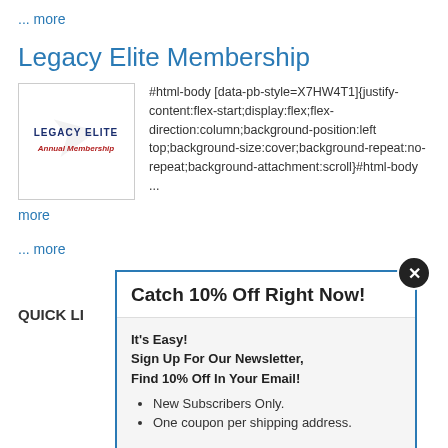... more
Legacy Elite Membership
[Figure (illustration): Legacy Elite Annual Membership product image with watermark logo]
#html-body [data-pb-style=X7HW4T1]{justify-content:flex-start;display:flex;flex-direction:column;background-position:left top;background-size:cover;background-repeat:no-repeat;background-attachment:scroll}#html-body ...
more
... more
QUICK LI
Catch 10% Off Right Now!
It's Easy!
Sign Up For Our Newsletter,
Find 10% Off In Your Email!
New Subscribers Only.
One coupon per shipping address.